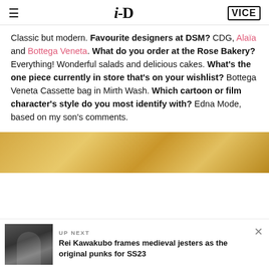≡   i-D   VICE
Classic but modern. Favourite designers at DSM? CDG, Alaïa and Bottega Veneta. What do you order at the Rose Bakery? Everything! Wonderful salads and delicious cakes. What's the one piece currently in store that's on your wishlist? Bottega Veneta Cassette bag in Mirth Wash. Which cartoon or film character's style do you most identify with? Edna Mode, based on my son's comments.
[Figure (photo): Gold/yellow textured background image strip]
UP NEXT
Rei Kawakubo frames medieval jesters as the original punks for SS23